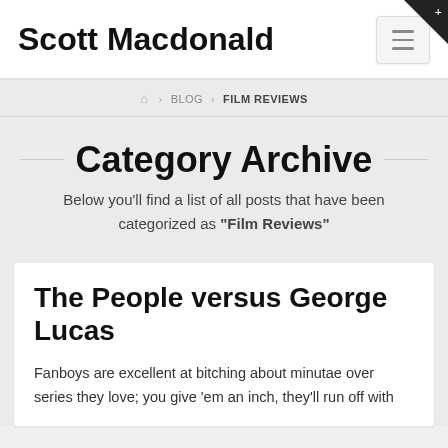Scott Macdonald
Home > BLOG > FILM REVIEWS
Category Archive
Below you'll find a list of all posts that have been categorized as "Film Reviews"
The People versus George Lucas
Fanboys are excellent at bitching about minutae over series they love; you give 'em an inch, they'll run off with